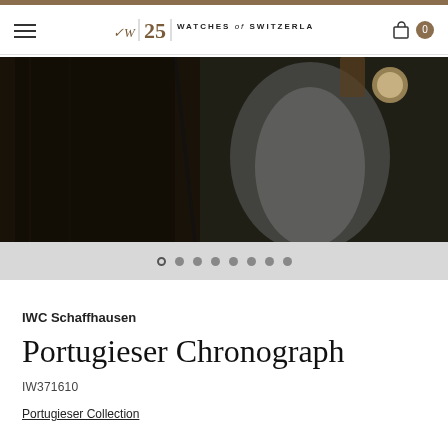Watches of Switzerland — navigation bar with hamburger menu and cart (0)
[Figure (photo): Hero banner image showing a person wearing a leather jacket with a watch visible on their wrist, dark moody lighting]
Carousel navigation dots (8 dots, first one active/outlined)
IWC Schaffhausen
Portugieser Chronograph
IW371610
Portugieser Collection